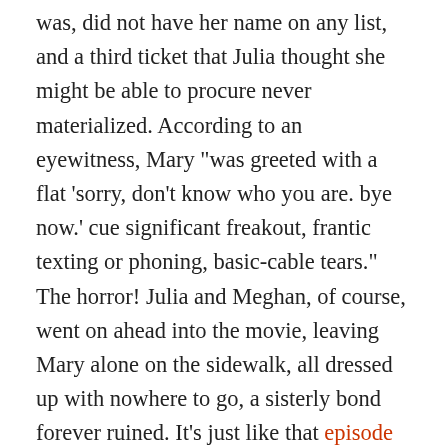was, did not have her name on any list, and a third ticket that Julia thought she might be able to procure never materialized. According to an eyewitness, Mary "was greeted with a flat 'sorry, don't know who you are. bye now.' cue significant freakout, frantic texting or phoning, basic-cable tears." The horror! Julia and Meghan, of course, went on ahead into the movie, leaving Mary alone on the sidewalk, all dressed up with nowhere to go, a sisterly bond forever ruined. It's just like that episode of Sex and the City where Miranda gets pregnant and is sort of "meh" about it and Charlotte gets upset because she can't have a baby but really wants one. Life is never fair. Julia tells us that it was a more low key disaster, saying "we all went together, I had a ticket for Meghan and a ticket for myself and we were hoping that